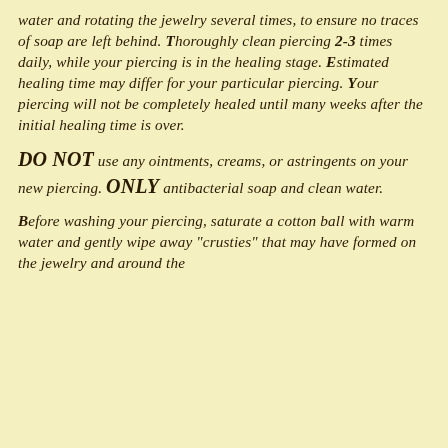water and rotating the jewelry several times, to ensure no traces of soap are left behind. Thoroughly clean piercing 2-3 times daily, while your piercing is in the healing stage. Estimated healing time may differ for your particular piercing. Your piercing will not be completely healed until many weeks after the initial healing time is over.
DO NOT use any ointments, creams, or astringents on your new piercing. ONLY antibacterial soap and clean water.
Before washing your piercing, saturate a cotton ball with warm water and gently wipe away "crusties" that may have formed on the jewelry and around the